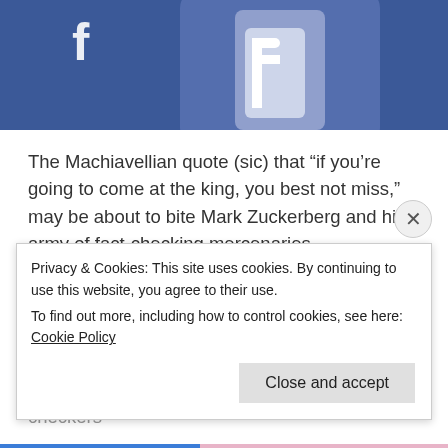[Figure (photo): Partial view of a blue Facebook-branded credit card or tile graphic, showing the white Facebook 'f' logo on a blue background.]
The Machiavellian quote (sic) that “if you’re going to come at the king, you best not miss,” may be about to bite Mark Zuckerberg and his army of fact-checking mercenaries.
While Zuckerberg may feel omnipotent atop his opaque algo-world but the so-called ‘fact-checkers’
Privacy & Cookies: This site uses cookies. By continuing to use this website, you agree to their use.
To find out more, including how to control cookies, see here: Cookie Policy
Close and accept